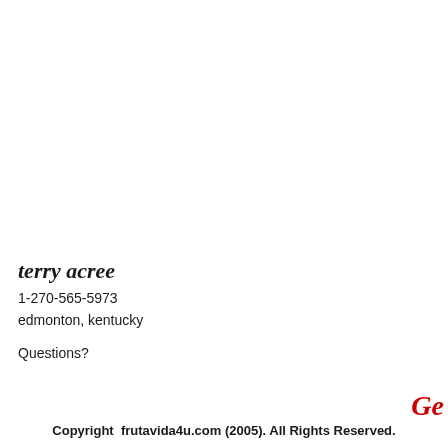terry acree
1-270-565-5973
edmonton, kentucky
Questions?
Ge
Copyright  frutavida4u.com (2005). All Rights Reserved.